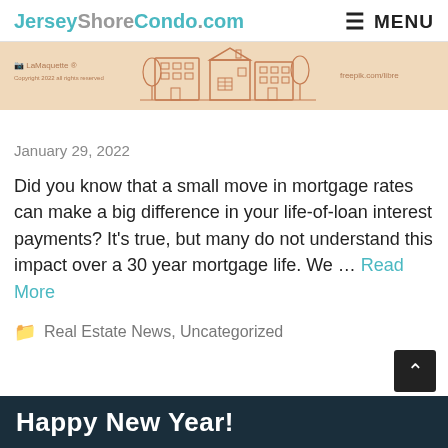JerseyShoreCondo.com   ≡ MENU
[Figure (illustration): A banner illustration showing stylized cartoon buildings and houses on a tan/beige background, with small icons on the left and right sides.]
January 29, 2022
Did you know that a small move in mortgage rates can make a big difference in your life-of-loan interest payments?  It's true, but many do not understand this impact over a 30 year mortgage life.  We ... Read More
Real Estate News, Uncategorized
Happy New Year!